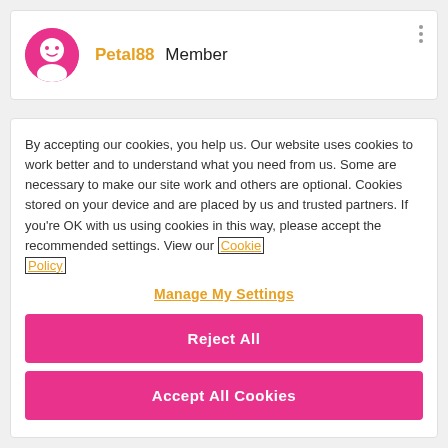Petal88 Member
By accepting our cookies, you help us. Our website uses cookies to work better and to understand what you need from us. Some are necessary to make our site work and others are optional. Cookies stored on your device and are placed by us and trusted partners. If you're OK with us using cookies in this way, please accept the recommended settings. View our Cookie Policy
Manage My Settings
Reject All
Accept All Cookies